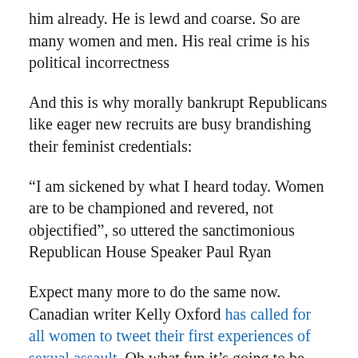him already. He is lewd and coarse. So are many women and men. His real crime is his political incorrectness
And this is why morally bankrupt Republicans like eager new recruits are busy brandishing their feminist credentials:
“I am sickened by what I heard today. Women are to be championed and revered, not objectified”, so uttered the sanctimonious Republican House Speaker Paul Ryan
Expect many more to do the same now. Canadian writer Kelly Oxford has called for all women to tweet their first experiences of sexual assault. Oh what fun it’s going to be.
Rather, it won’t be for men. But Donald’s not